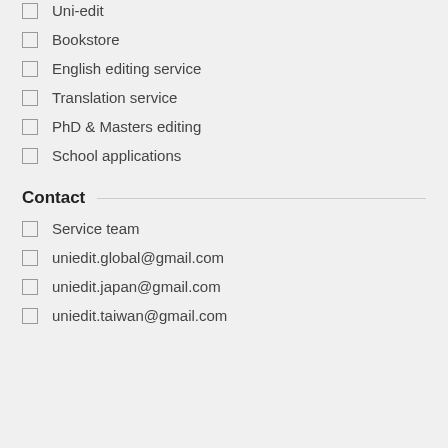Uni-edit
Bookstore
English editing service
Translation service
PhD & Masters editing
School applications
Contact
Service team
uniedit.global@gmail.com
uniedit.japan@gmail.com
uniedit.taiwan@gmail.com